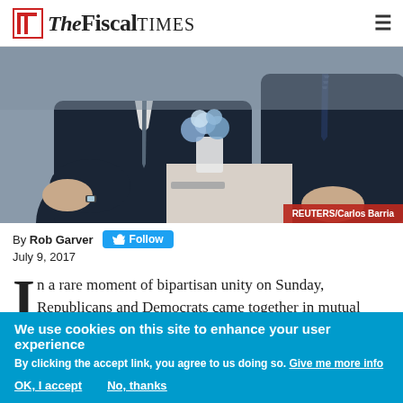THE FISCAL TIMES
[Figure (photo): Two men in dark suits sitting across from each other, with a flower arrangement on a table between them. Photo credit: REUTERS/Carlos Barria]
REUTERS/Carlos Barria
By Rob Garver  Follow
July 9, 2017
In a rare moment of bipartisan unity on Sunday, Republicans and Democrats came together in mutual astonishment after President Trump, in part of an early-morning storm of tweets, said that
We use cookies on this site to enhance your user experience
By clicking the accept link, you agree to us doing so. Give me more info
OK, I accept   No, thanks